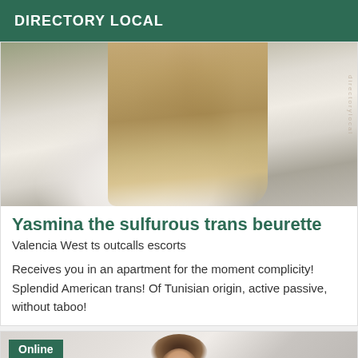DIRECTORY LOCAL
[Figure (photo): Photo of a person with long blonde/brown hair wearing a white top, torso visible]
Yasmina the sulfurous trans beurette
Valencia West ts outcalls escorts
Receives you in an apartment for the moment complicity! Splendid American trans! Of Tunisian origin, active passive, without taboo!
[Figure (photo): Online badge overlay on photo of brunette woman, head visible at bottom of card]